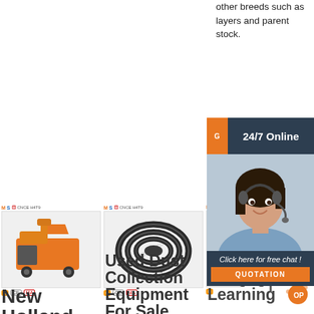other breeds such as layers and parent stock.
[Figure (screenshot): 24/7 Online chat widget with agent photo and QUOTATION button]
[Figure (photo): Orange construction/mining machine with brand logo MS CNCE H4T9]
[Figure (photo): Used dust collection hose/coil — black rubber coiled hose with brand logo MS CNCE H4T9]
[Figure (photo): Third product image partially visible with brand logo MS]
New Holland
Makes wide range of farming, construction
Used Dust Collection Equipment For Sale
MindTap - Cengage Learning
MTE - Hi Build...